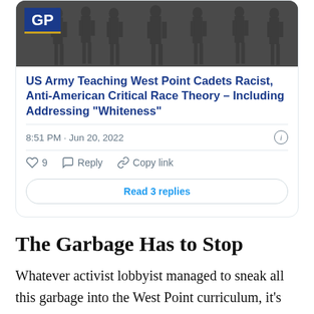[Figure (screenshot): Tweet card with GP (Gateway Pundit) article preview showing military cadets in uniform at top, with headline about West Point teaching Critical Race Theory, timestamp 8:51 PM Jun 20 2022, 9 likes, Reply, Copy link actions, and Read 3 replies button]
The Garbage Has to Stop
Whatever activist lobbyist managed to sneak all this garbage into the West Point curriculum, it's